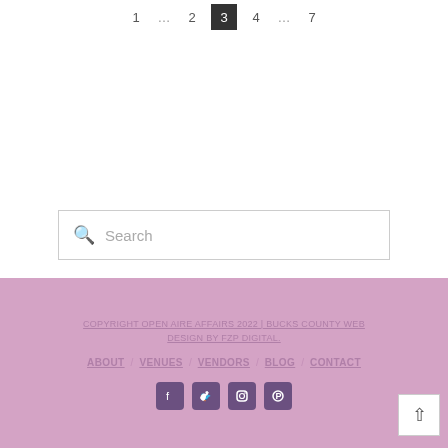1 … 2 3 4 … 7
Search
COPYRIGHT OPEN AIRE AFFAIRS 2022 | BUCKS COUNTY WEB DESIGN BY FZP DIGITAL.
ABOUT / VENUES / VENDORS / BLOG / CONTACT
[Social icons: Facebook, Twitter, Instagram, Pinterest]